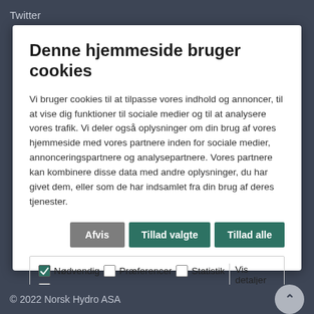Twitter
Denne hjemmeside bruger cookies
Vi bruger cookies til at tilpasse vores indhold og annoncer, til at vise dig funktioner til sociale medier og til at analysere vores trafik. Vi deler også oplysninger om din brug af vores hjemmeside med vores partnere inden for sociale medier, annonceringspartnere og analysepartnere. Vores partnere kan kombinere disse data med andre oplysninger, du har givet dem, eller som de har indsamlet fra din brug af deres tjenester.
| ☑ Nødvendig | ☐ Præferencer | ☐ Statistik | Vis detaljer ∨ |
| ☐ Marketing |  |  |  |
© 2022 Norsk Hydro ASA